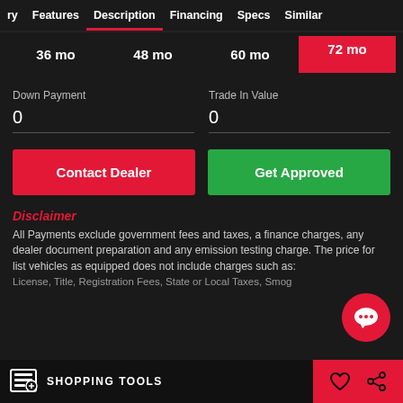ry  Features  Description  Financing  Specs  Similar
36 mo  48 mo  60 mo  72 mo
Down Payment
0
Trade In Value
0
Contact Dealer
Get Approved
Disclaimer
All Payments exclude government fees and taxes, a finance charges, any dealer document preparation and any emission testing charge. The price for list vehicles as equipped does not include charges such as: License, Title, Registration Fees, State or Local Taxes, Smog
SHOPPING TOOLS